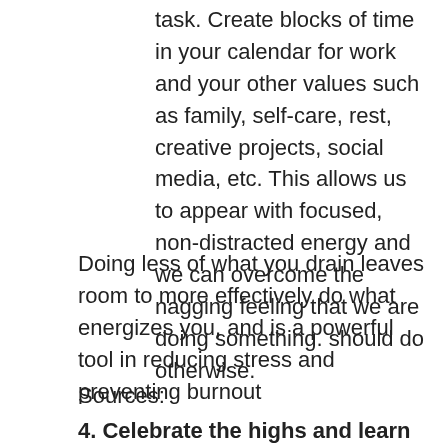task. Create blocks of time in your calendar for work and your other values such as family, self-care, rest, creative projects, social media, etc. This allows us to appear with focused, non-distracted energy and we can overcome the nagging feeling that we are doing something. should do otherwise.
Doing less of what you drain leaves room to more effectively do what energizes you, and is a powerful tool in reducing stress and preventing burnout
Sources:
4. Celebrate the highs and learn from the lows